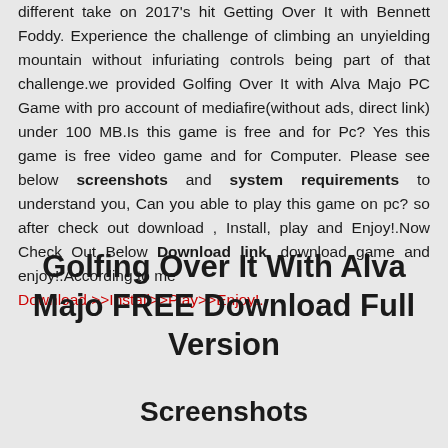different take on 2017's hit Getting Over It with Bennett Foddy. Experience the challenge of climbing an unyielding mountain without infuriating controls being part of that challenge.we provided Golfing Over It with Alva Majo PC Game with pro account of mediafire(without ads, direct link) under 100 MB.Is this game is free and for Pc? Yes this game is free video game and for Computer. Please see below screenshots and system requirements to understand you, Can you able to play this game on pc? so after check out download , Install, play and Enjoy!.Now Check Out Below Download link ,download game and enjoy!.According to me Download >>Install>>Play>>Enjoy!.
Golfing Over It With Alva Majo FREE Download Full Version
Screenshots